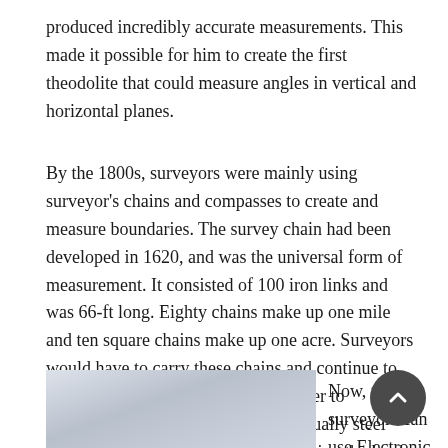produced incredibly accurate measurements. This made it possible for him to create the first theodolite that could measure angles in vertical and horizontal planes.
By the 1800s, surveyors were mainly using surveyor's chains and compasses to create and measure boundaries. The survey chain had been developed in 1620, and was the universal form of measurement. It consisted of 100 iron links and was 66-ft long. Eighty chains make up one mile and ten square chains make up one acre. Surveyors would have to carry these chains and continue to pick them up and lay them out in order to accurately measure a property. Eventually steel measuring tapes were invented, reducing the hard labor of the surveying profession.
[Figure (photo): A grayish-blue sky photograph, likely an outdoor scene used as an illustration accompanying text about surveying.]
Now, modern surveyors can use Electronic Distance Meters that can